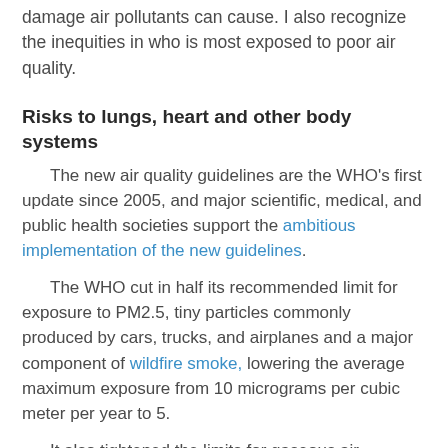damage air pollutants can cause. I also recognize the inequities in who is most exposed to poor air quality.
Risks to lungs, heart and other body systems
The new air quality guidelines are the WHO's first update since 2005, and major scientific, medical, and public health societies support the ambitious implementation of the new guidelines.
The WHO cut in half its recommended limit for exposure to PM2.5, tiny particles commonly produced by cars, trucks, and airplanes and a major component of wildfire smoke, lowering the average maximum exposure from 10 micrograms per cubic meter per year to 5.
It also tightened the limits for gaseous air pollutants like nitrogen dioxide that are produced when fossil